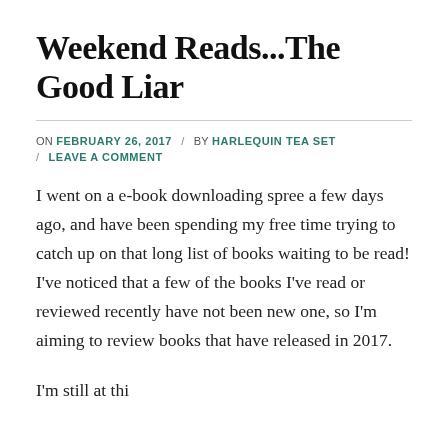Weekend Reads...The Good Liar
ON FEBRUARY 26, 2017 / BY HARLEQUIN TEA SET / LEAVE A COMMENT
I went on a e-book downloading spree a few days ago, and have been spending my free time trying to catch up on that long list of books waiting to be read! I've noticed that a few of the books I've read or reviewed recently have not been new one, so I'm aiming to review books that have released in 2017.
I'm still at thirteen years old, so something is...